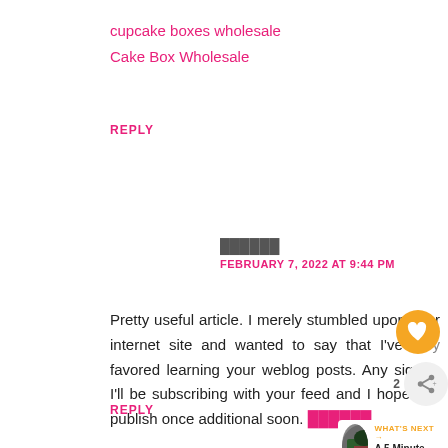cupcake boxes wholesale
Cake Box Wholesale
REPLY
██████
FEBRUARY 7, 2022 AT 9:44 PM
Pretty useful article. I merely stumbled upon your internet site and wanted to say that I've very favored learning your weblog posts. Any signifi 2 I'll be subscribing with your feed and I hope y publish once additional soon. ██████
REPLY